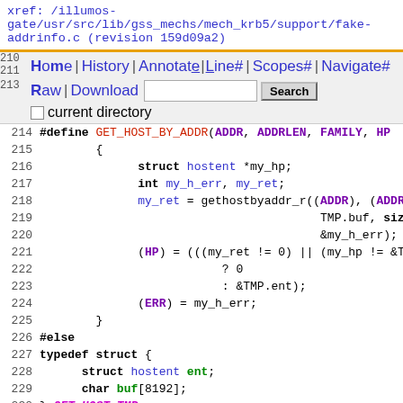xref: /illumos-gate/usr/src/lib/gss_mechs/mech_krb5/support/fake-addrinfo.c (revision 159d09a2)
[Figure (screenshot): Navigation bar with Home, History, Annotate, Line#, Scopes#, Navigate# links and Raw, Download links with a search box and Search button, plus current directory checkbox]
Code listing lines 214-234 of fake-addrinfo.c showing C preprocessor macros GET_HOST_BY_ADDR and GET_HOST_BY_NAME with struct definitions